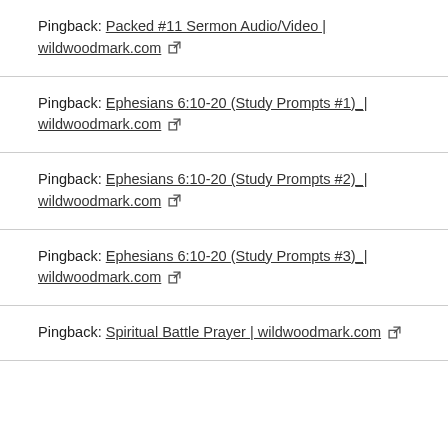Pingback: Packed #11 Sermon Audio/Video | wildwoodmark.com
Pingback: Ephesians 6:10-20 (Study Prompts #1) | wildwoodmark.com
Pingback: Ephesians 6:10-20 (Study Prompts #2) | wildwoodmark.com
Pingback: Ephesians 6:10-20 (Study Prompts #3) | wildwoodmark.com
Pingback: Spiritual Battle Prayer | wildwoodmark.com